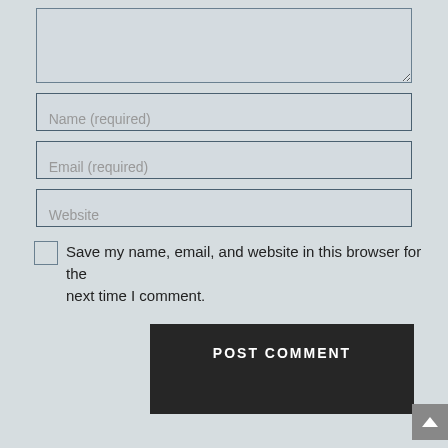[Comment textarea — partially visible at top]
Name (required)
Email (required)
Website
Save my name, email, and website in this browser for the next time I comment.
POST COMMENT